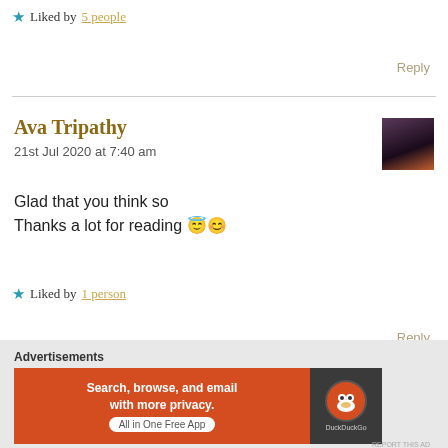★ Liked by 5 people
Reply
Ava Tripathy
21st Jul 2020 at 7:40 am
Glad that you think so
Thanks a lot for reading 😇😊
★ Liked by 1 person
Reply
Advertisements
[Figure (other): DuckDuckGo advertisement banner: orange background with text 'Search, browse, and email with more privacy. All in One Free App' and DuckDuckGo logo on dark background]